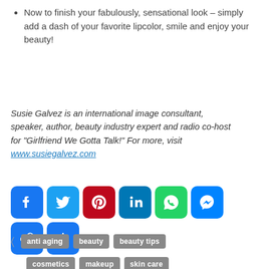Now to finish your fabulously, sensational look – simply add a dash of your favorite lipcolor, smile and enjoy your beauty!
Susie Galvez is an international image consultant, speaker, author, beauty industry expert and radio co-host for “Girlfriend We Gotta Talk!”  For more, visit www.susiegalvez.com
[Figure (other): Row of social media share icons: Facebook, Twitter, Pinterest, LinkedIn, WhatsApp, Messenger, Copy Link, and a More/Share button]
anti aging
beauty
beauty tips
cosmetics
makeup
skin care